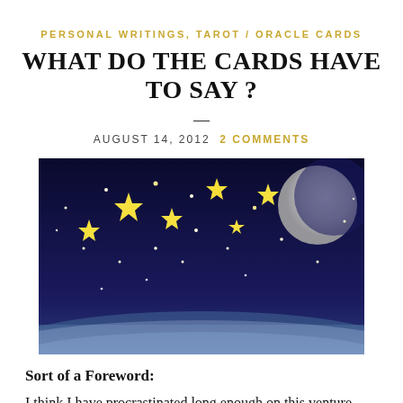PERSONAL WRITINGS, TAROT / ORACLE CARDS
WHAT DO THE CARDS HAVE TO SAY ?
AUGUST 14, 2012  2 COMMENTS
[Figure (illustration): Night sky illustration with yellow stars, a moon, and a glowing horizon against a deep blue background]
Sort of a Foreword:
I think I have procrastinated long enough on this venture. For some time now (read a few months!) my sis and I somewhat in togetherness decided that it would be a great idea for me to start doing a tarot card spread posting each week. This would get me to play with my cards, get to